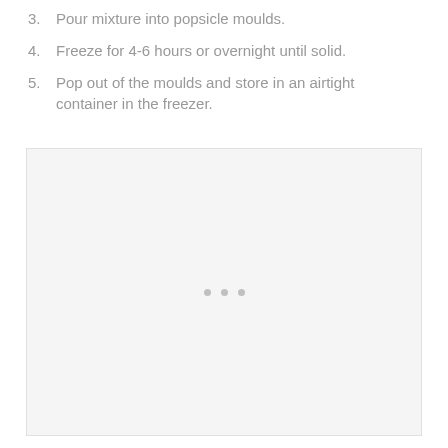3. Pour mixture into popsicle moulds.
4. Freeze for 4-6 hours or overnight until solid.
5. Pop out of the moulds and store in an airtight container in the freezer.
[Figure (photo): A light gray placeholder image box with three small gray dots centered in the middle, indicating a loading or missing image.]